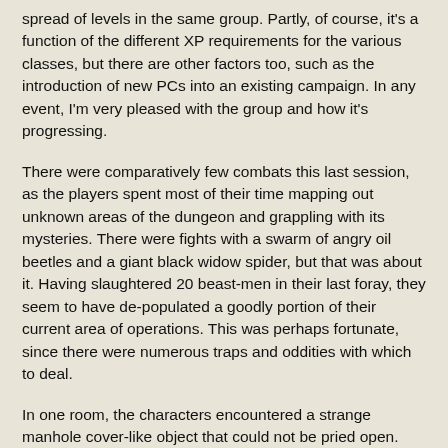spread of levels in the same group. Partly, of course, it's a function of the different XP requirements for the various classes, but there are other factors too, such as the introduction of new PCs into an existing campaign. In any event, I'm very pleased with the group and how it's progressing.
There were comparatively few combats this last session, as the players spent most of their time mapping out unknown areas of the dungeon and grappling with its mysteries. There were fights with a swarm of angry oil beetles and a giant black widow spider, but that was about it. Having slaughtered 20 beast-men in their last foray, they seem to have de-populated a goodly portion of their current area of operations. This was perhaps fortunate, since there were numerous traps and oddities with which to deal.
In one room, the characters encountered a strange manhole cover-like object that could not be pried open. When sufficient weight was placed on it, the object descended about 20 feet into a darkened chamber filled with an oily, black liquid. Because the characters couldn't see the size of the room or whether it had any inhabitants, they hastily